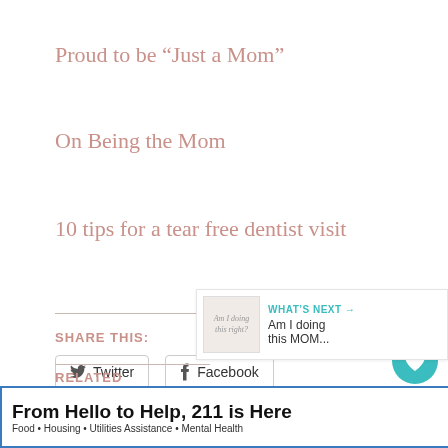Proud to be “Just a Mom”
On Being the Mom
10 tips for a tear free dentist visit
SHARE THIS:
Twitter
Facebook
6
WHAT’S NEXT → Am I doing this MOM...
RELATED
From Hello to Help, 211 is Here
Food • Housing • Utilities Assistance • Mental Health